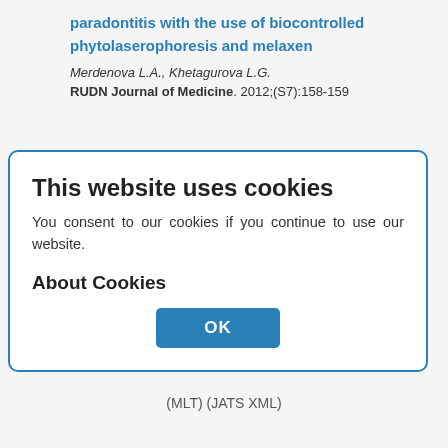paradontitis with the use of biocontrolled phytolaserophoresis and melaxen
Merdenova L.A., Khetagurova L.G.
RUDN Journal of Medicine. 2012;(S7):158-159
This website uses cookies
You consent to our cookies if you continue to use our website.
About Cookies
OK
Insulic as a Zeitgeber of circadian rhythm of the voluntary locomotor activity in rats
Mistrugov K.A., Pugachev E.I., Inuyshkin A.N.
RUDN Journal of Medicine. 2012;(S7):160
160    154
(MLT) (JATS XML)